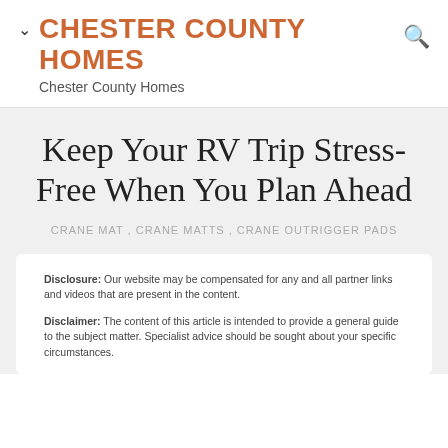CHESTER COUNTY HOMES
Chester County Homes
Keep Your RV Trip Stress-Free When You Plan Ahead
CRANE MAT , CRANE MATTS , CRANE OUTRIGGER PADS
Disclosure: Our website may be compensated for any and all partner links and videos that are present in the content.
Disclaimer: The content of this article is intended to provide a general guide to the subject matter. Specialist advice should be sought about your specific circumstances.